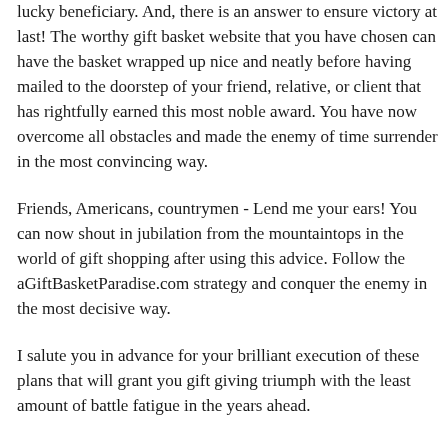lucky beneficiary. And, there is an answer to ensure victory at last! The worthy gift basket website that you have chosen can have the basket wrapped up nice and neatly before having mailed to the doorstep of your friend, relative, or client that has rightfully earned this most noble award. You have now overcome all obstacles and made the enemy of time surrender in the most convincing way.
Friends, Americans, countrymen - Lend me your ears! You can now shout in jubilation from the mountaintops in the world of gift shopping after using this advice. Follow the aGiftBasketParadise.com strategy and conquer the enemy in the most decisive way.
I salute you in advance for your brilliant execution of these plans that will grant you gift giving triumph with the least amount of battle fatigue in the years ahead.